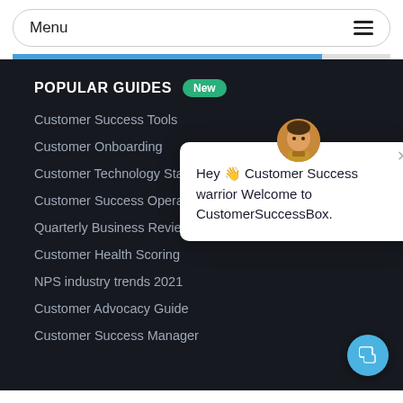Menu
POPULAR GUIDES New
Customer Success Tools
Customer Onboarding
Customer Technology Stack
Customer Success Operations
Quarterly Business Review
Customer Health Scoring
NPS industry trends 2021
Customer Advocacy Guide
Customer Success Manager
[Figure (screenshot): Chat popup with avatar saying: Hey 👋 Customer Success warrior Welcome to CustomerSuccessBox.]